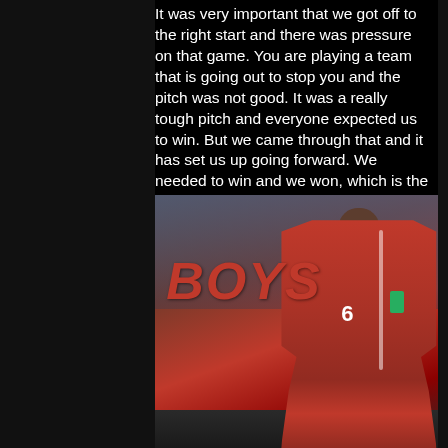It was very important that we got off to the right start and there was pressure on that game. You are playing a team that is going out to stop you and the pitch was not good. It was a really tough pitch and everyone expected us to win. But we came through that and it has set us up going forward. We needed to win and we won, which is the most important thing.
[Figure (photo): A football player wearing a red Wales jersey with number 6 and a green captain's armband, running on a pitch with a crowd in the background. The word 'BOYS' is overlaid in large red bold italic text on the left side of the image.]